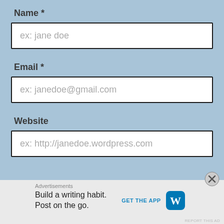Name *
ex: jane doe
Email *
ex: janedoe@gmail.com
Website
ex: http://janedoe.wordpress.com
Advertisements
Build a writing habit.
Post on the go.
GET THE APP
REPORT THIS AD